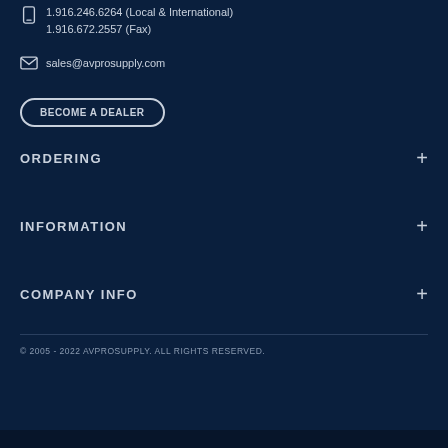1.916.246.6264 (Local & International)
1.916.672.2557 (Fax)
sales@avprosupply.com
BECOME A DEALER
ORDERING
INFORMATION
COMPANY INFO
© 2005 - 2022 AVPROSUPPLY. ALL RIGHTS RESERVED.